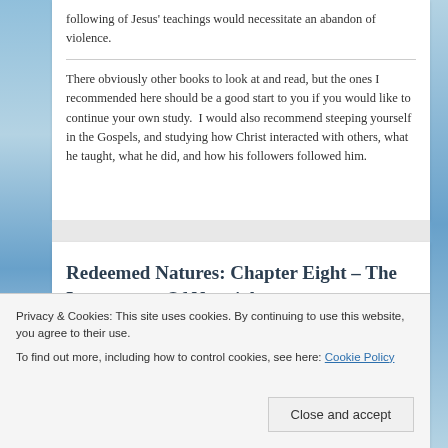following of Jesus' teachings would necessitate an abandon of violence.
There obviously other books to look at and read, but the ones I recommended here should be a good start to you if you would like to continue your own study.  I would also recommend steeping yourself in the Gospels, and studying how Christ interacted with others, what he taught, what he did, and how his followers followed him.
Redeemed Natures: Chapter Eight – The Importance Of Nonviolence
Privacy & Cookies: This site uses cookies. By continuing to use this website, you agree to their use.
To find out more, including how to control cookies, see here: Cookie Policy